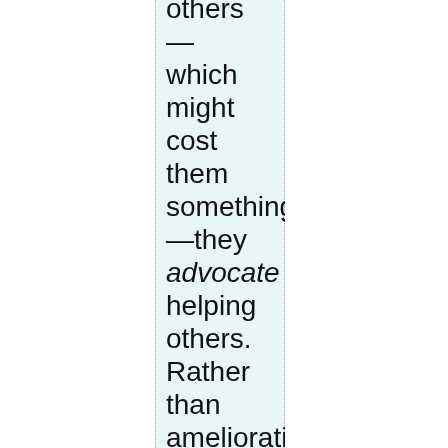others — which might cost them something! —they advocate helping others. Rather than ameliorating some of the bad effects of injustice